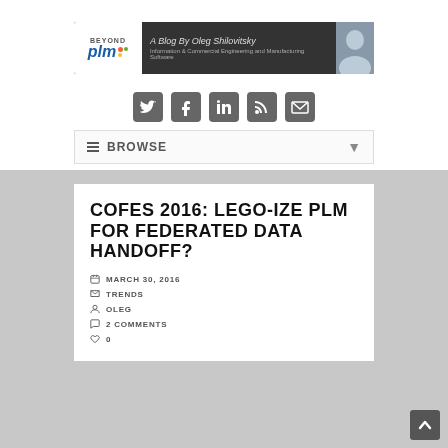[Figure (logo): Beyond PLM blog banner with logo, text 'A Blog By Oleg Shilovitsky', subtitle 'Information & Commercial Engineering and Manufacturing Software', and photo of author]
[Figure (infographic): Social media icons: Twitter, Facebook, LinkedIn, RSS, Email]
BROWSE
COFES 2016: LEGO-IZE PLM FOR FEDERATED DATA HANDOFF?
MARCH 30, 2016
TRENDS
OLEG
2 COMMENTS
0